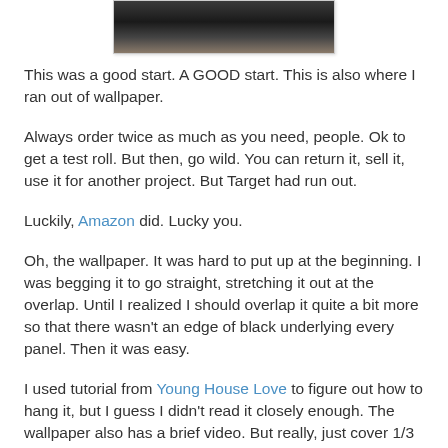[Figure (photo): Partial photo of a room scene, dark tones, visible at the top of the page]
This was a good start.  A GOOD start.  This is also where I ran out of wallpaper.
Always order twice as much as you need, people.  Ok to get a test roll.  But then, go wild.  You can return it, sell it, use it for another project.  But Target had run out.
Luckily, Amazon did.  Lucky you.
Oh, the wallpaper.  It was hard to put up at the beginning.  I was begging it to go straight, stretching it out at the overlap.  Until I realized I should overlap it quite a bit more so that there wasn't an edge of black underlying every panel.  Then it was easy.
I used tutorial from Young House Love to figure out how to hang it, but I guess I didn't read it closely enough.  The wallpaper also has a brief video.  But really, just cover 1/3 of it with itself and then smooth it out really good and call it a day. And keep a wet cloth nearby.